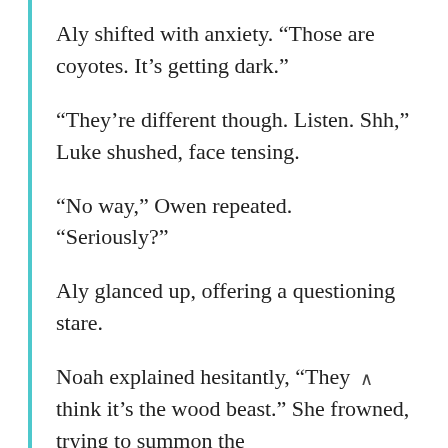Aly shifted with anxiety. “Those are coyotes. It’s getting dark.”
“They’re different though. Listen. Shh,” Luke shushed, face tensing.
“No way,” Owen repeated. “Seriously?”
Aly glanced up, offering a questioning stare.
Noah explained hesitantly, “They think it’s the wood beast.” She frowned, trying to summon the